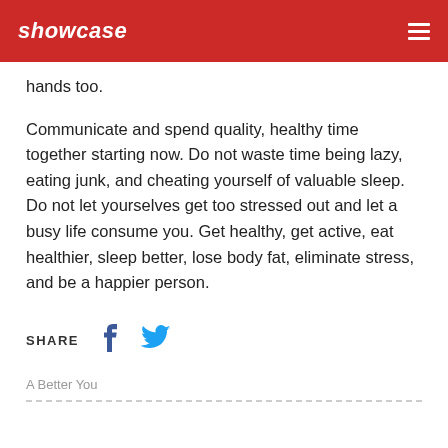showcase
hands too.
Communicate and spend quality, healthy time together starting now. Do not waste time being lazy, eating junk, and cheating yourself of valuable sleep. Do not let yourselves get too stressed out and let a busy life consume you. Get healthy, get active, eat healthier, sleep better, lose body fat, eliminate stress, and be a happier person.
SHARE
A Better You